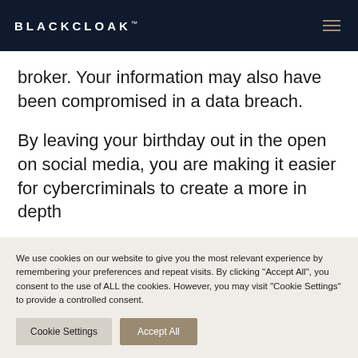BLACKCLOAK™
broker. Your information may also have been compromised in a data breach.
By leaving your birthday out in the open on social media, you are making it easier for cybercriminals to create a more in depth
We use cookies on our website to give you the most relevant experience by remembering your preferences and repeat visits. By clicking "Accept All", you consent to the use of ALL the cookies. However, you may visit "Cookie Settings" to provide a controlled consent.